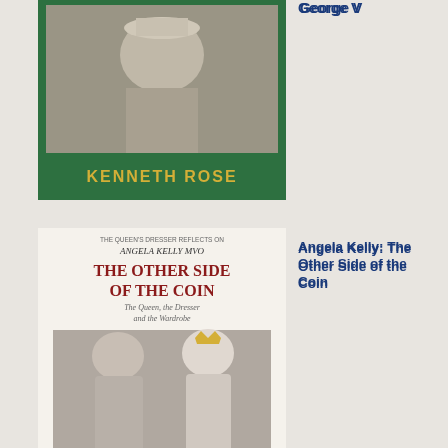[Figure (photo): Book cover: George V biography by Kenneth Rose - green cover with photo of man in hat]
George V
a ver lon boo anc tho
[Figure (photo): Book cover: The Other Side of the Coin by Angela Kelly - shows Queen Elizabeth and Angela Kelly]
Angela Kelly: The Other Side of the Coin
I hav cop of this on my she
[Figure (photo): Book cover: A Christmas Carol by Charles Dickens - illustrated Victorian scene]
Charles Dickens: A
Christmas Carol
I turr to my full boo yes anc with ten
[Figure (photo): Partial book cover visible at bottom of page]